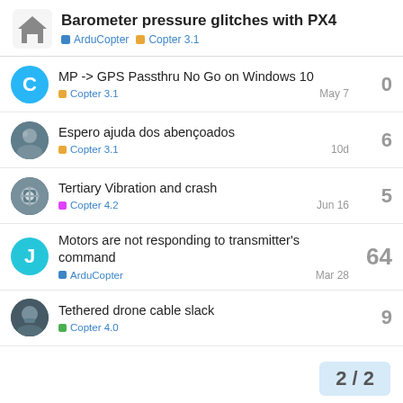Barometer pressure glitches with PX4 | ArduCopter | Copter 3.1
MP -> GPS Passthru No Go on Windows 10 | Copter 3.1 | May 7 | 0 replies
Espero ajuda dos abençoados | Copter 3.1 | 10d | 6 replies
Tertiary Vibration and crash | Copter 4.2 | Jun 16 | 5 replies
Motors are not responding to transmitter's command | ArduCopter | Mar 28 | 64 replies
Tethered drone cable slack | Copter 4.0 | 9 replies
2 / 2